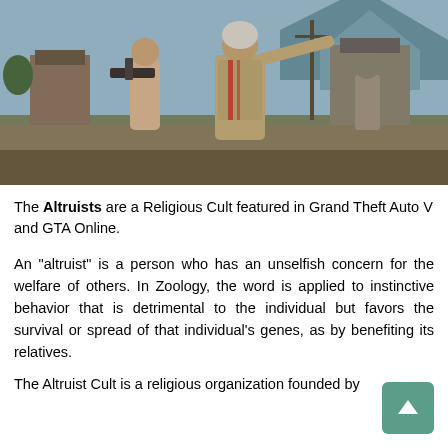[Figure (screenshot): Screenshot from Grand Theft Auto V showing characters from the Altruist Cult. A shirtless man holds a weapon, an elderly woman in a tank top points forward, and another masked figure stands in the background. Rural outdoor setting with buildings and mountains.]
The Altruists are a Religious Cult featured in Grand Theft Auto V and GTA Online.
An "altruist" is a person who has an unselfish concern for the welfare of others. In Zoology, the word is applied to instinctive behavior that is detrimental to the individual but favors the survival or spread of that individual's genes, as by benefiting its relatives.
The Altruist Cult is a religious organization founded by...